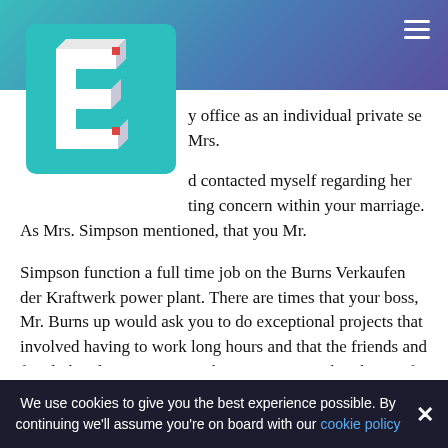[Figure (logo): 3D block letter E logo in white with pink/red accents on a teal square background]
y office as an individual private se Mrs.
d contacted myself regarding her ting concern within your marriage. As Mrs. Simpson mentioned, that you Mr.
Simpson function a full time job on the Burns Verkaufen der Kraftwerk power plant. There are times that your boss, Mr. Burns up would ask you to do exceptional projects that involved having to work long hours and that the friends and family barely see you come home. I am sure that this is of anxiety for your partner Marge since she is presently a house partner, and have been planning to let you know that the lady
We use cookies to give you the best experience possible. By continuing we'll assume you're on board with our cookie policy